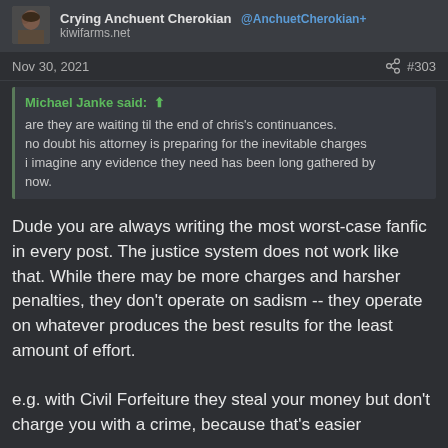Crying Anchuent Cherokian  kiwifarms.net
Nov 30, 2021  #303
Michael Janke said: ↑

are they are waiting til the end of chris's continuances. no doubt his attorney is preparing for the inevitable charges i imagine any evidence they need has been long gathered by now.
Dude you are always writing the most worst-case fanfic in every post. The justice system does not work like that. While there may be more charges and harsher penalties, they don't operate on sadism -- they operate on whatever produces the best results for the least amount of effort.
e.g. with Civil Forfeiture they steal your money but don't charge you with a crime, because that's easier and fatter than charging you with the obvious crime